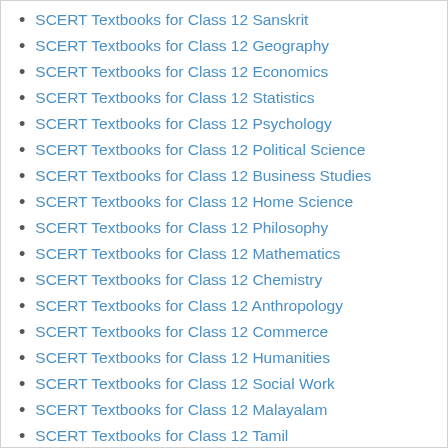SCERT Textbooks for Class 12 Sanskrit
SCERT Textbooks for Class 12 Geography
SCERT Textbooks for Class 12 Economics
SCERT Textbooks for Class 12 Statistics
SCERT Textbooks for Class 12 Psychology
SCERT Textbooks for Class 12 Political Science
SCERT Textbooks for Class 12 Business Studies
SCERT Textbooks for Class 12 Home Science
SCERT Textbooks for Class 12 Philosophy
SCERT Textbooks for Class 12 Mathematics
SCERT Textbooks for Class 12 Chemistry
SCERT Textbooks for Class 12 Anthropology
SCERT Textbooks for Class 12 Commerce
SCERT Textbooks for Class 12 Humanities
SCERT Textbooks for Class 12 Social Work
SCERT Textbooks for Class 12 Malayalam
SCERT Textbooks for Class 12 Tamil
SCERT Textbooks for Class 12 Kannada
SCERT Textbooks for Class 12 Islamic History